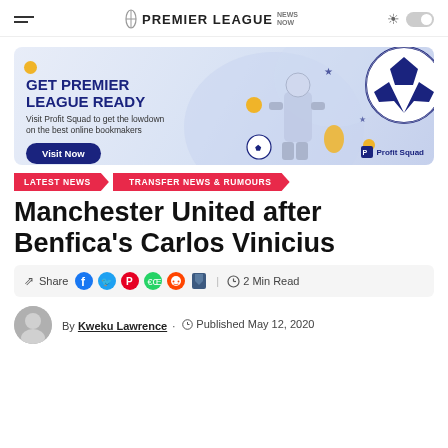PREMIER LEAGUE NEWS NOW
[Figure (infographic): Advertisement banner for Profit Squad: 'GET PREMIER LEAGUE READY - Visit Profit Squad to get the lowdown on the best online bookmakers - Visit Now button']
LATEST NEWS / TRANSFER NEWS & RUMOURS
Manchester United after Benfica's Carlos Vinicius
Share [social icons: Facebook, Twitter, Pinterest, WhatsApp, Reddit, Bookmark] | 2 Min Read
By Kweku Lawrence · Published May 12, 2020